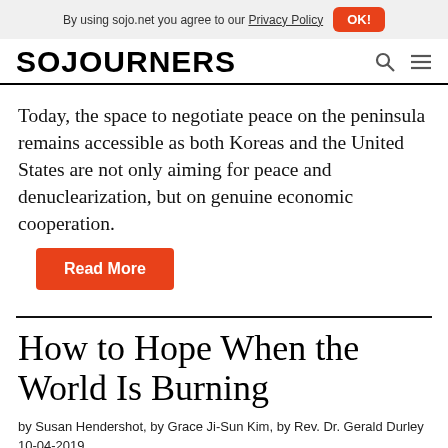By using sojo.net you agree to our Privacy Policy  OK!
SOJOURNERS
Today, the space to negotiate peace on the peninsula remains accessible as both Koreas and the United States are not only aiming for peace and denuclearization, but on genuine economic cooperation.
Read More
How to Hope When the World Is Burning
by Susan Hendershot, by Grace Ji-Sun Kim, by Rev. Dr. Gerald Durley
10-04-2019
[Figure (photo): Partial bottom image strip visible at bottom of page]